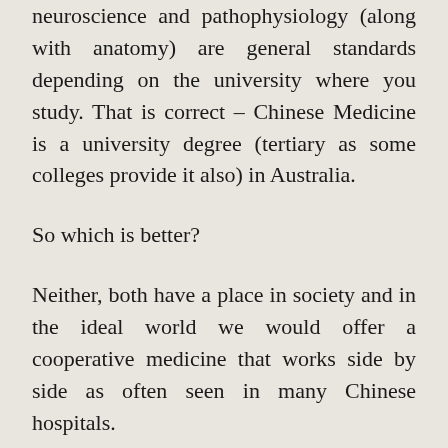neuroscience and pathophysiology (along with anatomy) are general standards depending on the university where you study. That is correct – Chinese Medicine is a university degree (tertiary as some colleges provide it also) in Australia.
So which is better?
Neither, both have a place in society and in the ideal world we would offer a cooperative medicine that works side by side as often seen in many Chinese hospitals.
Always remember that you should only seek